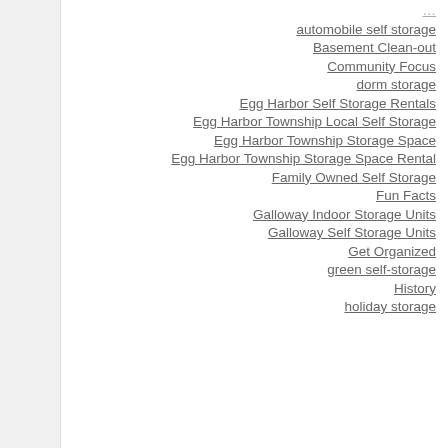automobile self storage
Basement Clean-out
Community Focus
dorm storage
Egg Harbor Self Storage Rentals
Egg Harbor Township Local Self Storage
Egg Harbor Township Storage Space
Egg Harbor Township Storage Space Rental
Family Owned Self Storage
Fun Facts
Galloway Indoor Storage Units
Galloway Self Storage Units
Get Organized
green self-storage
History
holiday storage